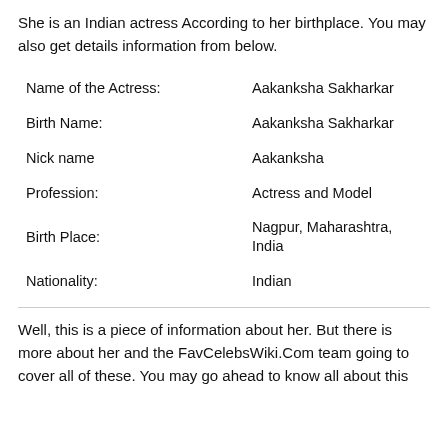She is an Indian actress According to her birthplace. You may also get details information from below.
| Name of the Actress: | Aakanksha Sakharkar |
| Birth Name: | Aakanksha Sakharkar |
| Nick name | Aakanksha |
| Profession: | Actress and Model |
| Birth Place: | Nagpur, Maharashtra, India |
| Nationality: | Indian |
Well, this is a piece of information about her. But there is more about her and the FavCelebsWiki.Com team going to cover all of these. You may go ahead to know all about this